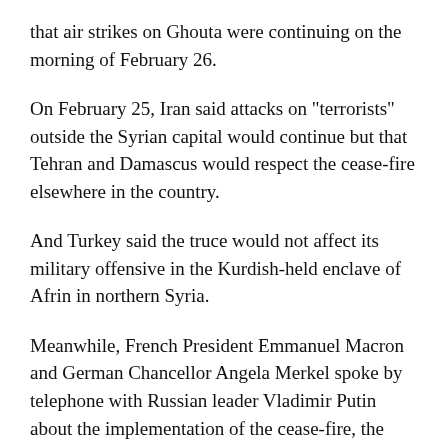that air strikes on Ghouta were continuing on the morning of February 26.
On February 25, Iran said attacks on "terrorists" outside the Syrian capital would continue but that Tehran and Damascus would respect the cease-fire elsewhere in the country.
And Turkey said the truce would not affect its military offensive in the Kurdish-held enclave of Afrin in northern Syria.
Meanwhile, French President Emmanuel Macron and German Chancellor Angela Merkel spoke by telephone with Russian leader Vladimir Putin about the implementation of the cease-fire, the Kremlin said.